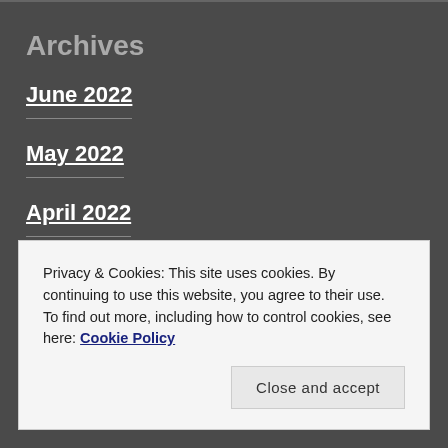Archives
June 2022
May 2022
April 2022
March 2022
Privacy & Cookies: This site uses cookies. By continuing to use this website, you agree to their use.
To find out more, including how to control cookies, see here: Cookie Policy
Close and accept